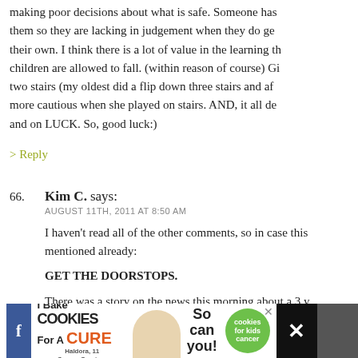making poor decisions about what is safe. Someone has them so they are lacking in judgement when they do ge their own. I think there is a lot of value in the learning th children are allowed to fall. (within reason of course) Gi two stairs (my oldest did a flip down three stairs and af more cautious when she played on stairs. AND, it all de and on LUCK. So, good luck:)
> Reply
66. Kim C. says:
AUGUST 11TH, 2011 AT 8:50 AM

I haven't read all of the other comments, so in case this mentioned already:
GET THE DOORSTOPS.
There was a story on the news this morning about a 3 y up in the middle of the night, opened the front door and GOD) found wandering on the side of a road by a passi
[Figure (infographic): Advertisement banner: 'I Bake COOKIES For A CURE' with girl image, 'So can you!' text, green cookies for kids cancer circle logo, and close X button]